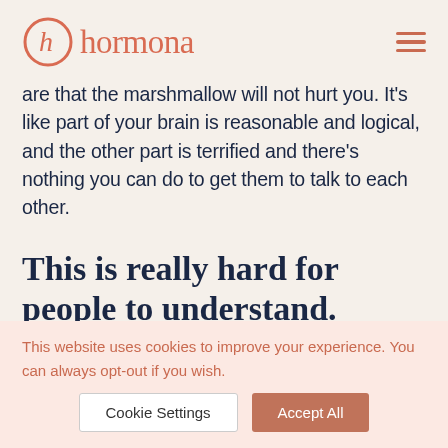hormona
are that the marshmallow will not hurt you. It's like part of your brain is reasonable and logical, and the other part is terrified and there's nothing you can do to get them to talk to each other.
This is really hard for people to understand.
[partially visible faded text below heading]
This website uses cookies to improve your experience. You can always opt-out if you wish.